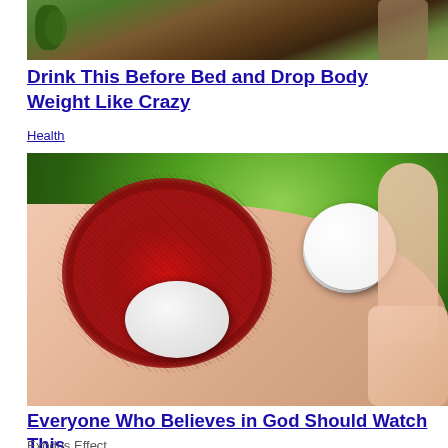[Figure (photo): Photo of a drink with cucumber slices, herbs, and other ingredients on a wooden surface]
Drink This Before Bed and Drop Body Weight Like Crazy
Health
[Figure (photo): Photo of a hand holding rambutan fruits, some opened showing white flesh inside, with green foliage background]
Everyone Who Believes in God Should Watch This
Exodus Effect